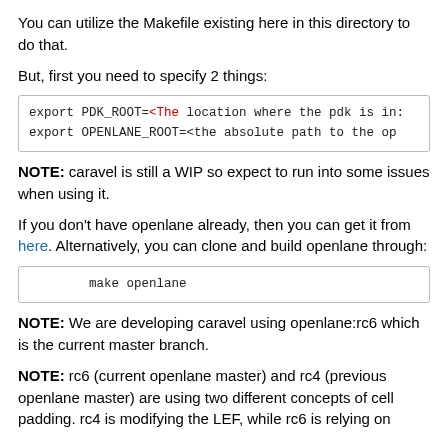You can utilize the Makefile existing here in this directory to do that.
But, first you need to specify 2 things:
export PDK_ROOT=<The location where the pdk is in...
export OPENLANE_ROOT=<the absolute path to the op...
NOTE: caravel is still a WIP so expect to run into some issues when using it.
If you don't have openlane already, then you can get it from here. Alternatively, you can clone and build openlane through:
make openlane
NOTE: We are developing caravel using openlane:rc6 which is the current master branch.
NOTE: rc6 (current openlane master) and rc4 (previous openlane master) are using two different concepts of cell padding. rc4 is modifying the LEF, while rc6 is relying on ...